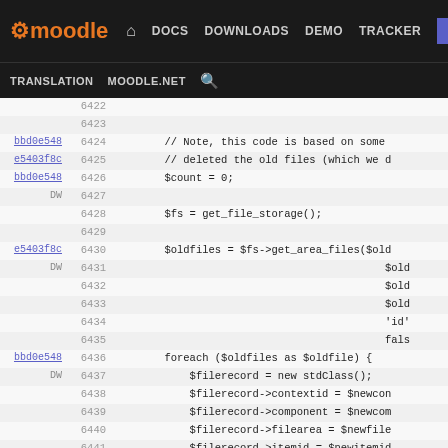moodle  DOCS  DOWNLOADS  DEMO  TRACKER  DEV  TRANSLATION  MOODLE.NET
[Figure (screenshot): Moodle developer site navigation bar with logo and menu items: DOCS, DOWNLOADS, DEMO, TRACKER, DEV (active/highlighted), TRANSLATION, MOODLE.NET, search icon]
Code viewer showing PHP source lines 6422-6448 with commit hashes bbd0e548, e5403f8c, DW. Code includes $count = 0, $fs = get_file_storage(), $oldfiles = $fs->get_area_files($old...), foreach ($oldfiles as $oldfile) { $filerecord = new stdClass(); $filerecord->contextid = $newcon..., $filerecord->component = $newcom..., $filerecord->filearea = $newfile..., $filerecord->itemid = $newitemid..., $fs->create_file_from_storedfile..., $count += 1; }, return $count; }